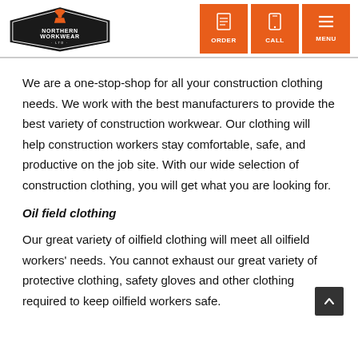[Figure (logo): Northern Workwear Ltd. logo — diamond/hexagon shaped black badge with orange hard hat figure on top and text 'NORTHERN WORKWEAR · LTD ·']
[Figure (infographic): Navigation buttons: ORDER (clipboard icon), CALL (phone icon), MENU (hamburger icon) — orange background]
We are a one-stop-shop for all your construction clothing needs. We work with the best manufacturers to provide the best variety of construction workwear. Our clothing will help construction workers stay comfortable, safe, and productive on the job site. With our wide selection of construction clothing, you will get what you are looking for.
Oil field clothing
Our great variety of oilfield clothing will meet all oilfield workers' needs. You cannot exhaust our great variety of protective clothing, safety gloves and other clothing required to keep oilfield workers safe.